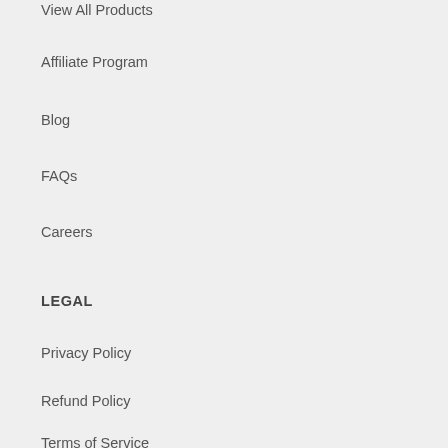View All Products
Affiliate Program
Blog
FAQs
Careers
LEGAL
Privacy Policy
Refund Policy
Terms of Service